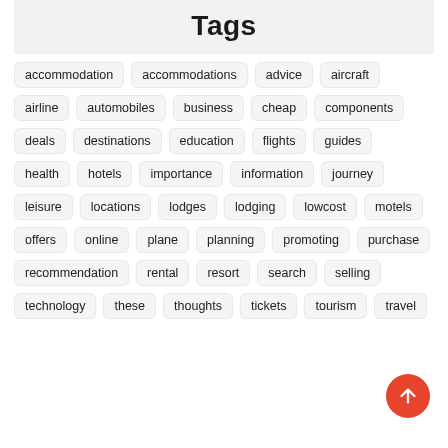Tags
accommodation
accommodations
advice
aircraft
airline
automobiles
business
cheap
components
deals
destinations
education
flights
guides
health
hotels
importance
information
journey
leisure
locations
lodges
lodging
lowcost
motels
offers
online
plane
planning
promoting
purchase
recommendation
rental
resort
search
selling
technology
these
thoughts
tickets
tourism
travel